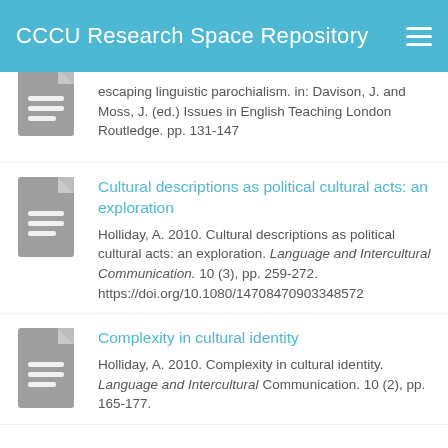CCCU Research Space Repository
escaping linguistic parochialism. in: Davison, J. and Moss, J. (ed.) Issues in English Teaching London Routledge. pp. 131-147
Cultural descriptions as political cultural acts: an exploration
Holliday, A. 2010. Cultural descriptions as political cultural acts: an exploration. Language and Intercultural Communication. 10 (3), pp. 259-272. https://doi.org/10.1080/14708470903348572
Complexity in cultural identity
Holliday, A. 2010. Complexity in cultural identity. Language and Intercultural Communication. 10 (2), pp. 165-177.